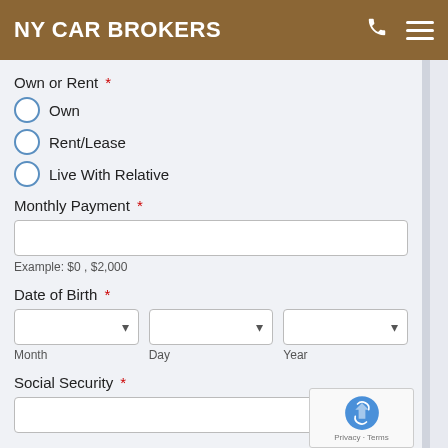NY CAR BROKERS
Own or Rent *
Own
Rent/Lease
Live With Relative
Monthly Payment *
Example: $0 , $2,000
Date of Birth *
Month
Day
Year
Social Security *